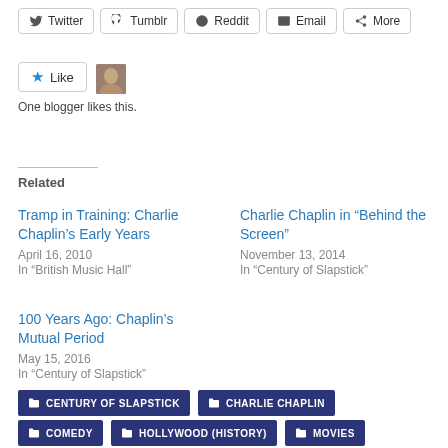[Figure (screenshot): Social sharing buttons: Twitter, Tumblr, Reddit, Email, More]
[Figure (screenshot): Like button with star icon and blogger avatar, with text 'One blogger likes this.']
Related
Tramp in Training: Charlie Chaplin’s Early Years
April 16, 2010
In "British Music Hall"
Charlie Chaplin in “Behind the Screen”
November 13, 2014
In "Century of Slapstick"
100 Years Ago: Chaplin’s Mutual Period
May 15, 2016
In "Century of Slapstick"
CENTURY OF SLAPSTICK
CHARLIE CHAPLIN
COMEDY
HOLLYWOOD (HISTORY)
MOVIES